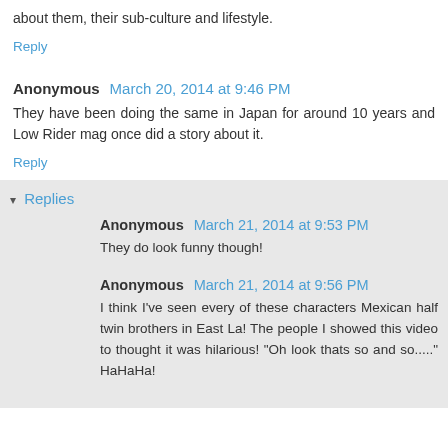about them, their sub-culture and lifestyle.
Reply
Anonymous  March 20, 2014 at 9:46 PM
They have been doing the same in Japan for around 10 years and Low Rider mag once did a story about it.
Reply
Replies
Anonymous  March 21, 2014 at 9:53 PM
They do look funny though!
Anonymous  March 21, 2014 at 9:56 PM
I think I've seen every of these characters Mexican half twin brothers in East La! The people I showed this video to thought it was hilarious! "Oh look thats so and so....." HaHaHa!